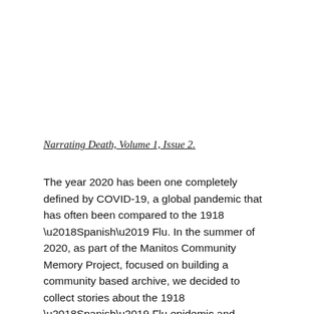Narrating Death, Volume 1, Issue 2.
The year 2020 has been one completely defined by COVID-19, a global pandemic that has often been compared to the 1918 ‘Spanish’ Flu. In the summer of 2020, as part of the Manitos Community Memory Project, focused on building a community based archive, we decided to collect stories about the 1918 ‘Spanish’ Flu epidemic and COVID-19. This cuaderno holds one set of those stories.